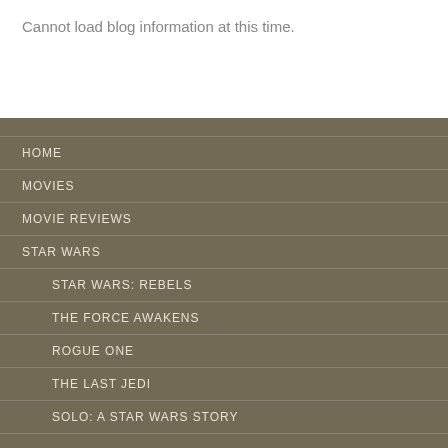Cannot load blog information at this time.
HOME
MOVIES
MOVIE REVIEWS
STAR WARS
STAR WARS: REBELS
THE FORCE AWAKENS
ROGUE ONE
THE LAST JEDI
SOLO: A STAR WARS STORY